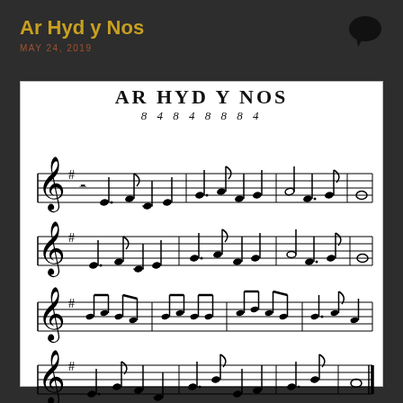Ar Hyd y Nos
MAY 24, 2019
[Figure (illustration): Sheet music for 'AR HYD Y NOS' (All Through the Night), a Welsh hymn tune in G major (one sharp), common time (C), showing four staves of musical notation with the meter indication 84848884. The score shows four lines of music with treble clef, key signature of one sharp, and various quarter notes, half notes, whole notes, dotted notes, and eighth notes arranged in measures.]